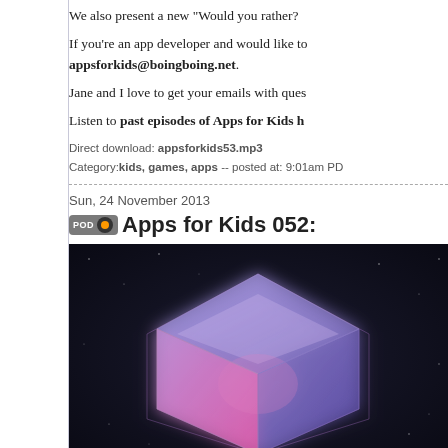We also present a new "Would you rather?"
If you're an app developer and would like to appsforkids@boingboing.net.
Jane and I love to get your emails with ques
Listen to past episodes of Apps for Kids h
Direct download: appsforkids53.mp3
Category: kids, games, apps -- posted at: 9:01am PD
Sun, 24 November 2013
Apps for Kids 052:
[Figure (photo): A glowing 3D cube with purple and pink gradient on a dark starry background]